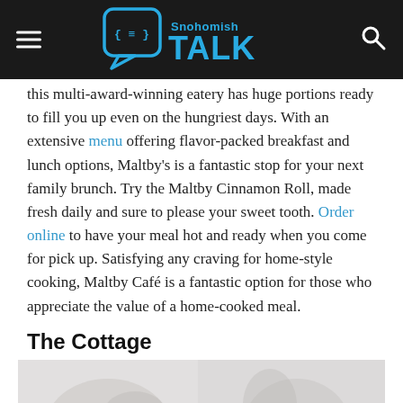Snohomish TALK
this multi-award-winning eatery has huge portions ready to fill you up even on the hungriest days. With an extensive menu offering flavor-packed breakfast and lunch options, Maltby's is a fantastic stop for your next family brunch. Try the Maltby Cinnamon Roll, made fresh daily and sure to please your sweet tooth. Order online to have your meal hot and ready when you come for pick up. Satisfying any craving for home-style cooking, Maltby Café is a fantastic option for those who appreciate the value of a home-cooked meal.
The Cottage
[Figure (photo): A photo of food or dining scene related to The Cottage restaurant]